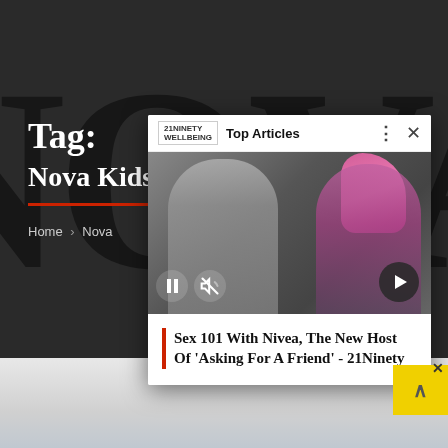Tag:
Nova Kids
Home > Nova
[Figure (screenshot): Popup overlay showing a couple photo with a woman with pink hair and a man in a white t-shirt sitting on a couch. The popup has a Top Articles header bar, pause/mute controls, a next arrow button, and an article title below.]
Sex 101 With Nivea, The New Host Of 'Asking For A Friend' - 21Ninety
[Figure (photo): Bottom portion of page showing a light gray background image, partially visible, with a yellow scroll-to-top button and a close X button in the lower right corner.]